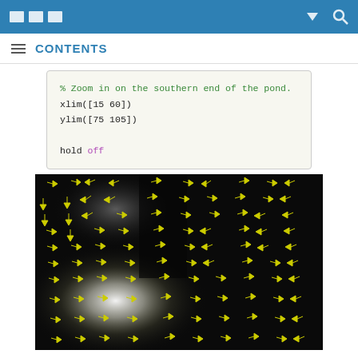CONTENTS
% Zoom in on the southern end of the pond.
xlim([15 60])
ylim([75 105])

hold off
[Figure (other): Quiver/vector field plot showing flow vectors (yellow arrows) over a dark background with a bright white region at lower left, representing current or wind vectors over a pond zoomed into the southern end.]